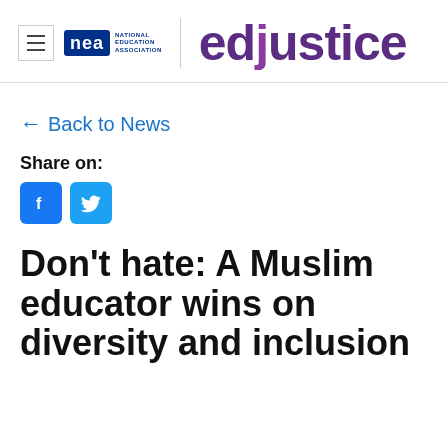[Figure (logo): NEA edjustice website header with hamburger menu, NEA National Education Association logo, vertical divider, and edjustice wordmark in purple]
← Back to News
Share on:
[Figure (other): Facebook and Twitter share icons]
Don't hate: A Muslim educator wins on diversity and inclusion